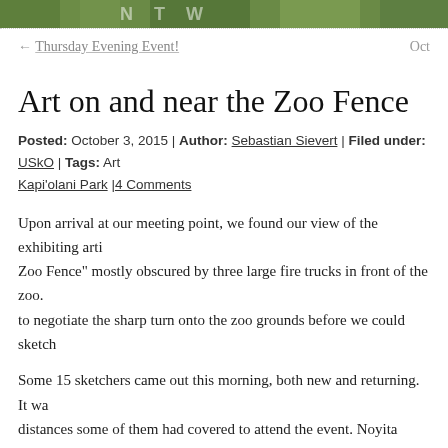[Figure (photo): Top banner image with green foliage and partial text visible]
← Thursday Evening Event!     Oct
Art on and near the Zoo Fence
Posted: October 3, 2015 | Author: Sebastian Sievert | Filed under: USkO | Tags: Art... Kapi'olani Park |4 Comments
Upon arrival at our meeting point, we found our view of the exhibiting arti... Zoo Fence" mostly obscured by three large fire trucks in front of the zoo. to negotiate the sharp turn onto the zoo grounds before we could sketch
Some 15 sketchers came out this morning, both new and returning. It wa... distances some of them had covered to attend the event. Noyita traveled... to join us. Now that is commitment to the cause!
As usual, we gathered for a show-and-tell at the end of the event to share and thoughts on materials. Pen, pencil, watercolor, color pencil, and ink a... artwork on display. Our lively discussion covered a variety of topics rangi... supplies, through layering of media, to the mesmerizing effect of the zoo